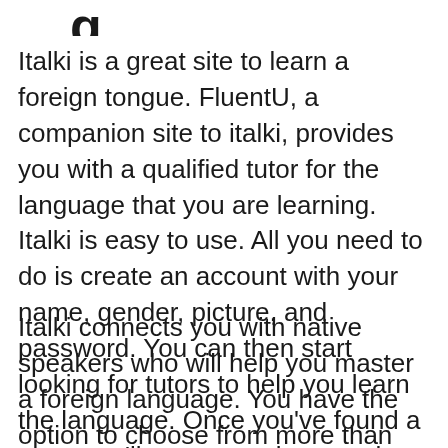…g…
Italki is a great site to learn a foreign tongue. FluentU, a companion site to italki, provides you with a qualified tutor for the language that you are learning. Italki is easy to use. All you need to do is create an account with your name, gender, picture, and password. You can then start looking for tutors to help you learn the language. Once you've found a tutor, you'll want to make sure the one you've chosen is vetted by the Italki founder.
Italki connects you with native speakers who will help you master a foreign language. You have the option to choose from more than 190 languages in order to learn a language. Each lesson varies in length, cost, and convenience, so you can choose the time…